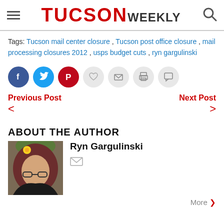TUCSON WEEKLY
Tags: Tucson mail center closure , Tucson post office closure , mail processing closures 2012 , usps budget cuts , ryn gargulinski
[Figure (infographic): Social sharing icons: Facebook (blue), Twitter (blue), Pinterest (red), heart (gray), email (gray), print (gray), comment (gray)]
Previous Post
Next Post
ABOUT THE AUTHOR
[Figure (photo): Photo of Ryn Gargulinski, a woman with reddish hair, glasses, and a yellow flower in her hair]
Ryn Gargulinski
More >